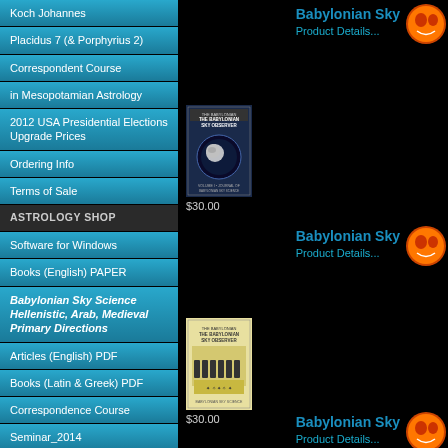Koch Johannes
Placidus 7 (& Porphyrius 2)
Correspondent Course
in Mesopotamian Astrology
2012 USA Presidential Elections
Upgrade Prices
Ordering Info
Terms of Sale
ASTROLOGY SHOP
Software for Windows
Books (English) PAPER
Babylonian Sky Science
Hellenistic, Arab, Medieval
Primary Directions
Articles (English) PDF
Books (Latin & Greek) PDF
Correspondence Course
Seminar_2014
Units
[Figure (photo): Book cover - The Babylonian Sky Observer, dark blue cover with moon]
$30.00
[Figure (photo): Book cover - The Babylonian Sky Observer, yellow/cream cover with figures]
$30.00
[Figure (photo): Book cover - The Babylonian Sky Observer, cream cover with portrait]
Babylonian Sky
Product Details...
Babylonian Sky
Product Details...
Babylonian Sky
Product Details...